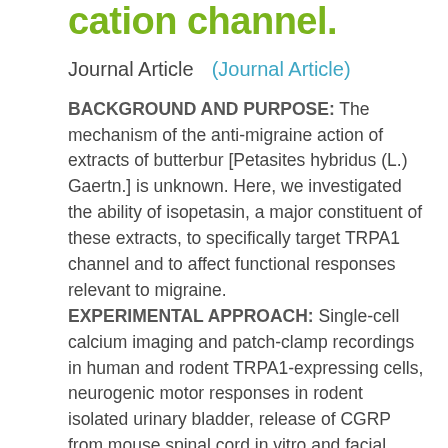cation channel.
Journal Article    (Journal Article)
BACKGROUND AND PURPOSE: The mechanism of the anti-migraine action of extracts of butterbur [Petasites hybridus (L.) Gaertn.] is unknown. Here, we investigated the ability of isopetasin, a major constituent of these extracts, to specifically target TRPA1 channel and to affect functional responses relevant to migraine. EXPERIMENTAL APPROACH: Single-cell calcium imaging and patch-clamp recordings in human and rodent TRPA1-expressing cells, neurogenic motor responses in rodent isolated urinary bladder, release of CGRP from mouse spinal cord in vitro and facial rubbing in